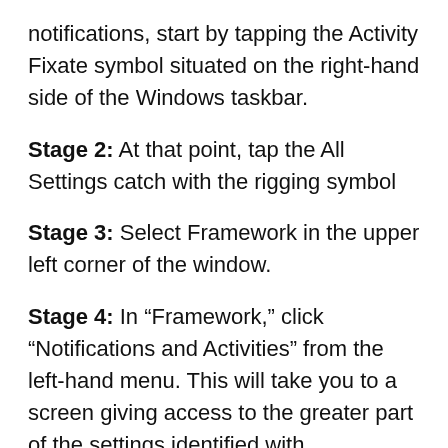notifications, start by tapping the Activity Fixate symbol situated on the right-hand side of the Windows taskbar.
Stage 2: At that point, tap the All Settings catch with the rigging symbol
Stage 3: Select Framework in the upper left corner of the window.
Stage 4: In “Framework,” click “Notifications and Activities” from the left-hand menu. This will take you to a screen giving access to the greater part of the settings identified with notifications and the Activity Center.
Stage 5: Search for the Notifications subhead, where you will see various switches for different sorts of notifications. The accompanying is a rundown of the